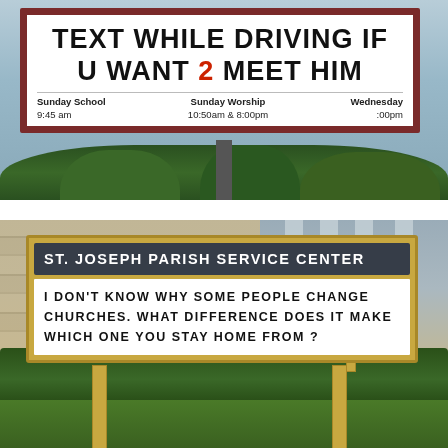[Figure (photo): Church sign reading 'TEXT WHILE DRIVING IF U WANT 2 MEET HIM' with service times: Sunday School 9:45 am, Sunday Worship 10:50am & 8:00pm, Wednesday :00pm. Sign has dark red border on white background. Trees visible in background.]
[Figure (photo): St. Joseph Parish Service Center outdoor sign with gold frame. Header reads 'ST. JOSEPH PARISH SERVICE CENTER' on dark background. Message reads 'I DON'T KNOW WHY SOME PEOPLE CHANGE CHURCHES. WHAT DIFFERENCE DOES IT MAKE WHICH ONE YOU STAY HOME FROM?' Stone building and hedge in background.]